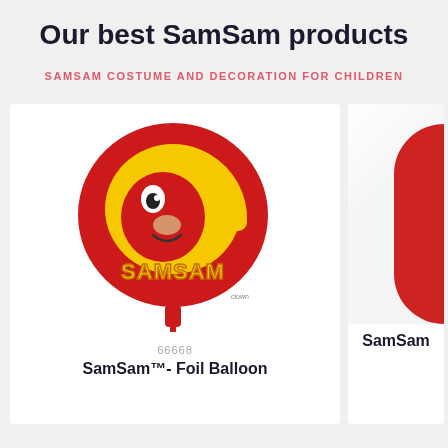Our best SamSam products
SAMSAM COSTUME AND DECORATION FOR CHILDREN
[Figure (photo): Red round foil balloon with SamSam character face and SAMSAM text printed on it, with a balloon tab at the bottom]
66668
SamSam™- Foil Balloon
[Figure (photo): Partially visible second SamSam product card showing red item on right side]
SamSam